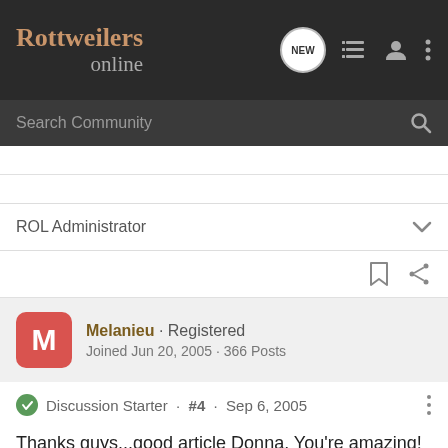Rottweilers online
Search Community
ROL Administrator
Melanieu · Registered
Joined Jun 20, 2005 · 366 Posts
Discussion Starter · #4 · Sep 6, 2005
Thanks guys...good article Donna. You're amazing!